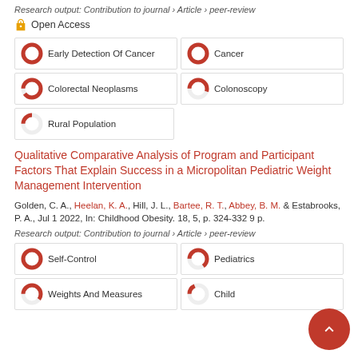Research output: Contribution to journal › Article › peer-review
Open Access
[Figure (infographic): Keyword badges with donut chart percentage indicators: Early Detection Of Cancer (100%), Cancer (100%), Colorectal Neoplasms (90%), Colonoscopy (55%), Rural Population (25%)]
Qualitative Comparative Analysis of Program and Participant Factors That Explain Success in a Micropolitan Pediatric Weight Management Intervention
Golden, C. A., Heelan, K. A., Hill, J. L., Bartee, R. T., Abbey, B. M. & Estabrooks, P. A., Jul 1 2022, In: Childhood Obesity. 18, 5, p. 324-332 9 p.
Research output: Contribution to journal › Article › peer-review
[Figure (infographic): Keyword badges with donut chart percentage indicators: Self-Control (100%), Pediatrics (65%), Weights And Measures (60%), Child (18%)]